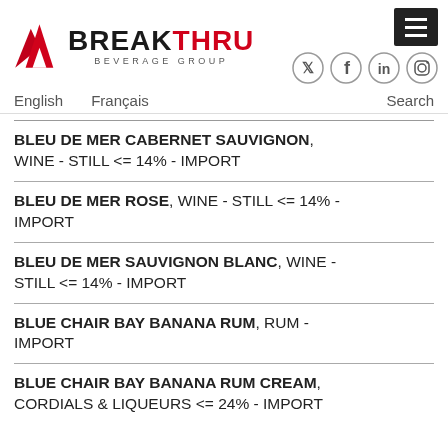[Figure (logo): Breakthru Beverage Group logo with red arrow/mountain icon and BREAK in black, THRU in red, BEVERAGE GROUP in grey subtitle]
English   Français   Search
BLEU DE MER CABERNET SAUVIGNON, WINE - STILL <= 14% - IMPORT
BLEU DE MER ROSE, WINE - STILL <= 14% - IMPORT
BLEU DE MER SAUVIGNON BLANC, WINE - STILL <= 14% - IMPORT
BLUE CHAIR BAY BANANA RUM, RUM - IMPORT
BLUE CHAIR BAY BANANA RUM CREAM, CORDIALS & LIQUEURS <= 24% - IMPORT